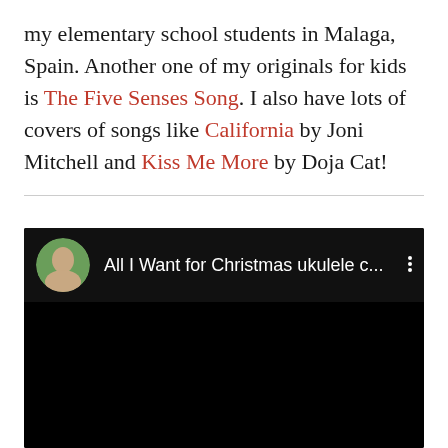my elementary school students in Malaga, Spain. Another one of my originals for kids is The Five Senses Song. I also have lots of covers of songs like California by Joni Mitchell and Kiss Me More by Doja Cat!
[Figure (screenshot): Embedded YouTube video player showing 'All I Want for Christmas ukulele c...' with a circular avatar of a young woman with long hair on a green background, and a three-dot menu icon. The video area is black.]